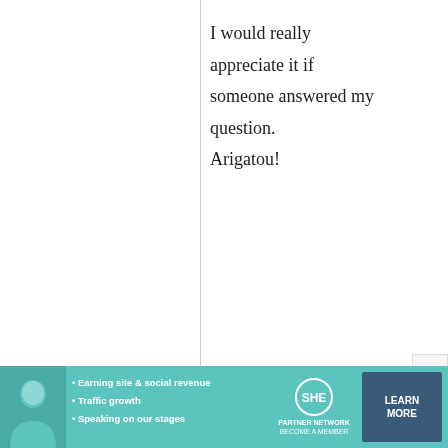I would really appreciate it if someone answered my question. Arigatou!
maki
2 September, 2008 - 03:08
permalink
Check out the Onigiri FAQ
Check out the
[Figure (infographic): Advertisement banner for SHE Partner Network. Shows a woman's photo on the left, bullet points: Earning site & social revenue, Traffic growth, Speaking on our stages. SHE logo with PARTNER NETWORK / BECOME A MEMBER text, and a LEARN MORE button.]